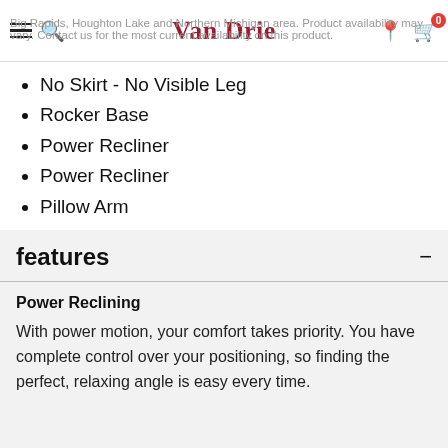Van Drie
Big Rapids, Houghton Lake and Northern Michigan area. Product availability may vary. Contact us for the most current availability on this product.
No Skirt - No Visible Leg
Rocker Base
Power Recliner
Power Recliner
Pillow Arm
No-Gap Footrest
USB Port/Charger
Power Headrest
features
Power Reclining
With power motion, your comfort takes priority. You have complete control over your positioning, so finding the perfect, relaxing angle is easy every time.